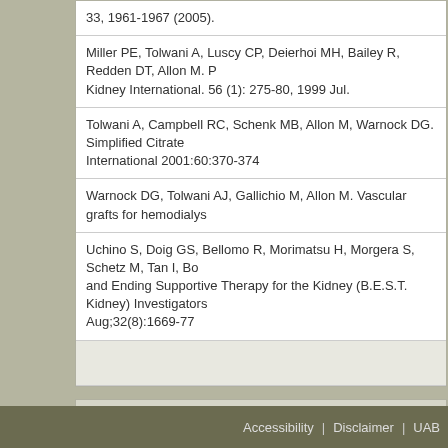| 33, 1961-1967 (2005). |
| Miller PE, Tolwani A, Luscy CP, Deierhoi MH, Bailey R, Redden DT, Allon M. P... Kidney International. 56 (1): 275-80, 1999 Jul. |
| Tolwani A, Campbell RC, Schenk MB, Allon M, Warnock DG. Simplified Citrate... International 2001:60:370-374 |
| Warnock DG, Tolwani AJ, Gallichio M, Allon M. Vascular grafts for hemodialys... |
| Uchino S, Doig GS, Bellomo R, Morimatsu H, Morgera S, Schetz M, Tan I, Bo... and Ending Supportive Therapy for the Kidney (B.E.S.T. Kidney) Investigators... Aug;32(8):1669-77 |
|  |
Keywords
Acute Renal Failure, Acute Kidney Injury, Continuous Renal Replacement The...
Accessibility | Disclaimer | UAB